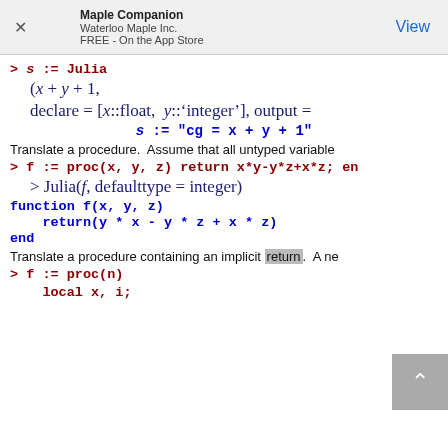Maple Companion
Waterloo Maple Inc.
FREE - On the App Store
Translate a procedure.  Assume that all untyped variable
Translate a procedure containing an implicit return.  A ne